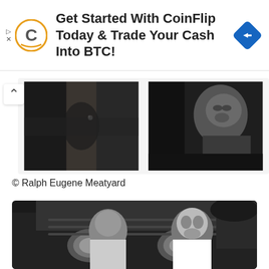[Figure (infographic): CoinFlip advertisement banner with C logo on left, text 'Get Started With CoinFlip Today & Trade Your Cash Into BTC!' and blue diamond arrow icon on right]
[Figure (photo): Two black and white photographic prints side by side, dark abstract/portrait subjects, Ralph Eugene Meatyard photographs]
© Ralph Eugene Meatyard
[Figure (photo): Black and white photograph of two people in front of a vintage car, one person wearing a mask, by Ralph Eugene Meatyard]